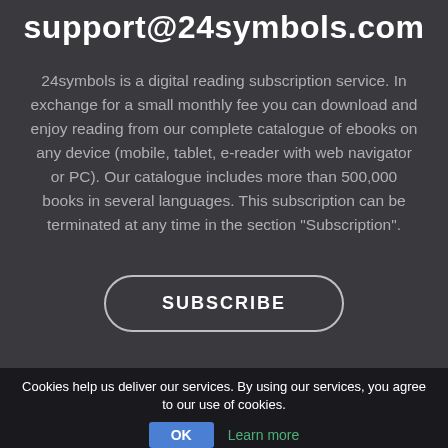support@24symbols.com
24symbols is a digital reading subscription service. In exchange for a small monthly fee you can download and enjoy reading from our complete catalogue of ebooks on any device (mobile, tablet, e-reader with web navigator or PC). Our catalogue includes more than 500,000 books in several languages. This subscription can be terminated at any time in the section "Subscription".
SUBSCRIBE
Cookies help us deliver our services. By using our services, you agree to our use of cookies.
OK
Learn more